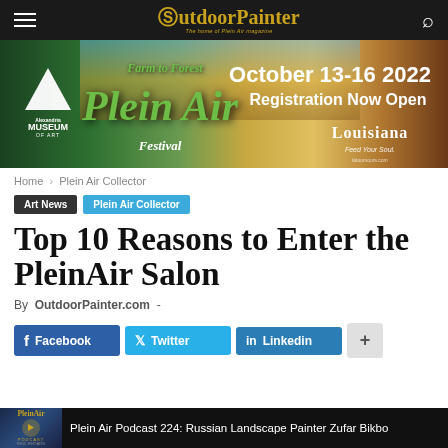OutdoorPainter — The home of Plein Air magazine
[Figure (infographic): Alexandria Museum of Art Farm to Forest Plein Air Festival banner ad — October 13-16 2022 Registration Now Open, Louisiana Feed Your Soul]
Home › Plein Air Collector
Art News   Plein Air Collector
Top 10 Reasons to Enter the PleinAir Salon
By OutdoorPainter.com -
Facebook   Twitter   LinkedIn   +
Plein Air Podcast 224: Russian Landscape Painter Zufar Bikbo